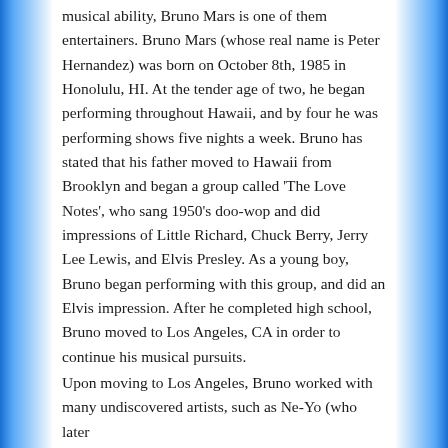musical ability, Bruno Mars is one of them entertainers. Bruno Mars (whose real name is Peter Hernandez) was born on October 8th, 1985 in Honolulu, HI. At the tender age of two, he began performing throughout Hawaii, and by four he was performing shows five nights a week. Bruno has stated that his father moved to Hawaii from Brooklyn and began a group called ‘The Love Notes’, who sang 1950’s doo-wop and did impressions of Little Richard, Chuck Berry, Jerry Lee Lewis, and Elvis Presley. As a young boy, Bruno began performing with this group, and did an Elvis impression. After he completed high school, Bruno moved to Los Angeles, CA in order to continue his musical pursuits.
Upon moving to Los Angeles, Bruno worked with many undiscovered artists, such as Ne-Yo (who later